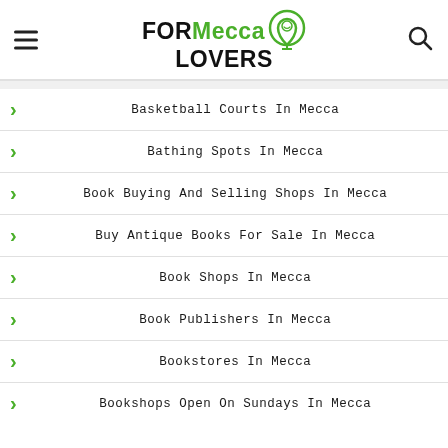FOR Mecca LOVERS
Basketball Courts In Mecca
Bathing Spots In Mecca
Book Buying And Selling Shops In Mecca
Buy Antique Books For Sale In Mecca
Book Shops In Mecca
Book Publishers In Mecca
Bookstores In Mecca
Bookshops Open On Sundays In Mecca